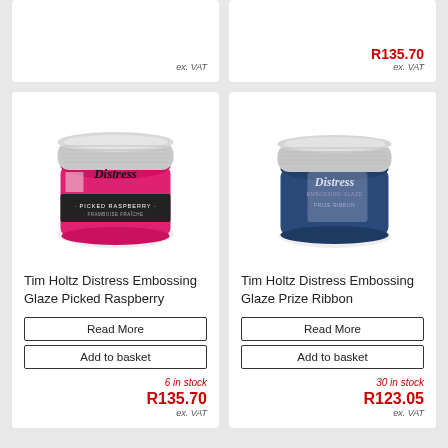[Figure (photo): Partial top of two product cards with price and ex. VAT labels]
R135.70
ex. VAT
ex. VAT
[Figure (photo): Tim Holtz Distress Embossing Glaze Picked Raspberry jar with pink label]
Tim Holtz Distress Embossing Glaze Picked Raspberry
Read More
Add to basket
6 in stock
R135.70
ex. VAT
[Figure (photo): Tim Holtz Distress Embossing Glaze Prize Ribbon jar with dark blue label]
Tim Holtz Distress Embossing Glaze Prize Ribbon
Read More
Add to basket
30 in stock
R123.05
ex. VAT